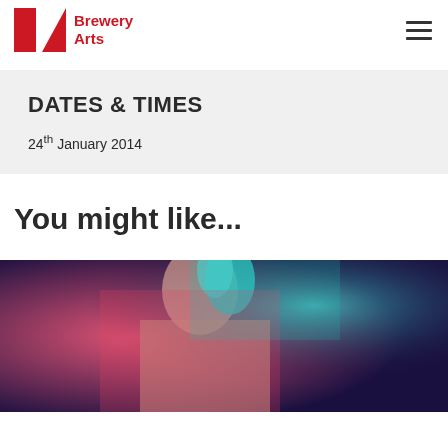Brewery Arts
DATES & TIMES
24th January 2014
You might like...
[Figure (photo): Close-up portrait of a person with blue/teal hair and pink/red lighting, eyes closed]